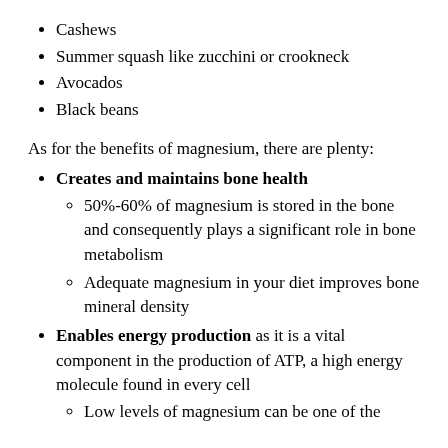Cashews
Summer squash like zucchini or crookneck
Avocados
Black beans
As for the benefits of magnesium, there are plenty:
Creates and maintains bone health
50%-60% of magnesium is stored in the bone and consequently plays a significant role in bone metabolism
Adequate magnesium in your diet improves bone mineral density
Enables energy production as it is a vital component in the production of ATP, a high energy molecule found in every cell
Low levels of magnesium can be one of the